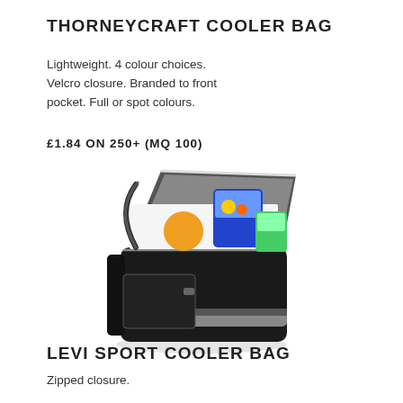THORNEYCRAFT COOLER BAG
Lightweight. 4 colour choices. Velcro closure. Branded to front pocket. Full or spot colours.
£1.84 ON 250+ (MQ 100)
[Figure (photo): Black cooler bag open at the top showing food items inside, with a grey stripe and zipper detail]
LEVI SPORT COOLER BAG
Zipped closure.